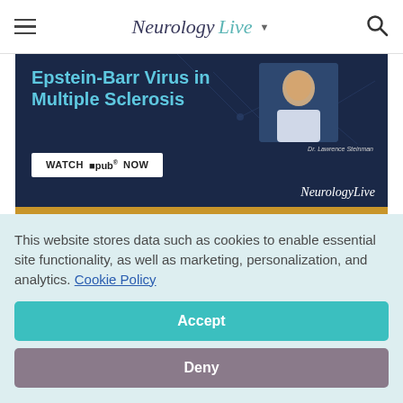NeurologyLive
[Figure (illustration): Advertisement banner for NeurologyLive featuring Epstein-Barr Virus in Multiple Sclerosis content, with a photo of Dr. Lawrence Steinman, a Watch ipub Now button, and the NeurologyLive logo on a dark navy background with gold bottom bar.]
This website stores data such as cookies to enable essential site functionality, as well as marketing, personalization, and analytics. Cookie Policy
Accept
Deny